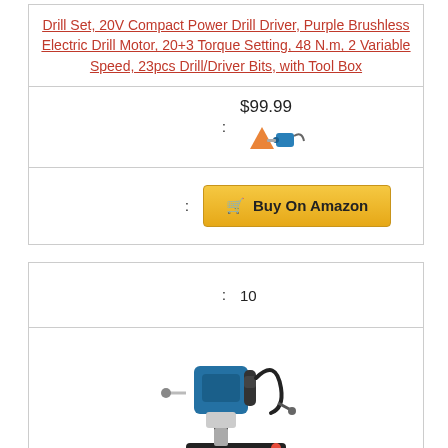Drill Set, 20V Compact Power Drill Driver, Purple Brushless Electric Drill Motor, 20+3 Torque Setting, 48 N.m, 2 Variable Speed, 23pcs Drill/Driver Bits, with Tool Box
: $99.99
[Figure (logo): Amazon seller logo with orange and blue stylized 'A' with drill bits]
: Buy On Amazon
: 10
[Figure (photo): Photo of a blue and black magnetic drill press machine]